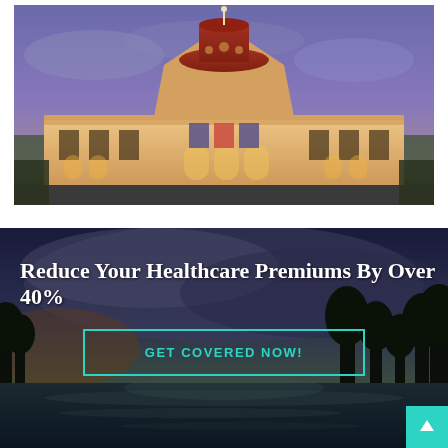[Figure (photo): Illuminated government/capitol building photographed at dusk with purple-blue sky and warm golden lighting on the classical facade with red dome]
[Figure (photo): Twilight landscape with dark teal/purple sky, trees silhouetted, and reflective water, serving as background banner image]
Reduce Your Healthcare Premiums By Over 40%
GET COVERED NOW!